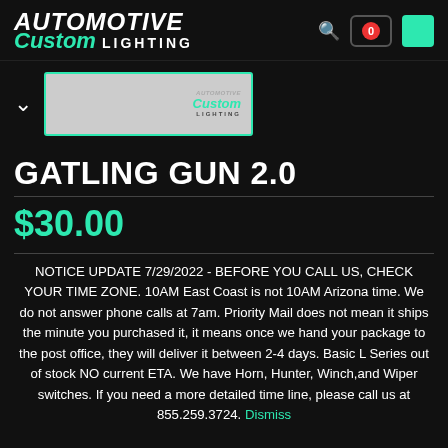AUTOMOTIVE Custom LIGHTING
[Figure (logo): Automotive Custom Lighting product thumbnail with teal border showing the brand logo on grey background]
GATLING GUN 2.0
$30.00
NOTICE UPDATE 7/29/2022 - BEFORE YOU CALL US, CHECK YOUR TIME ZONE. 10AM East Coast is not 10AM Arizona time. We do not answer phone calls at 7am. Priority Mail does not mean it ships the minute you purchased it, it means once we hand your package to the post office, they will deliver it between 2-4 days. Basic L Series out of stock NO current ETA. We have Horn, Hunter, Winch,and Wiper switches. If you need a more detailed time line, please call us at 855.259.3724. Dismiss